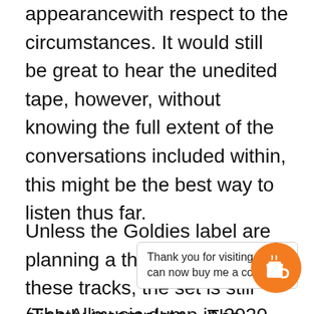appearancewith respect to the circumstances. It would still be great to hear the unedited tape, however, without knowing the full extent of the conversations included within, this might be the best way to listen thus far.
Unless the Goldies label are planning a third release of these tracks, the set is still slightly incomplete – The acetates that Strawberry, Repro-Man / Unicorn have all released are in accounted for as are the various takes of 'Apple Scruffs' [text partially obscured] hope that the [text partially obscured] hat weren't [text partially obscured] o.
Thank you for visiting. You can now buy me a coffee!
(The Allmusic dump in 2020 seemed to suggest